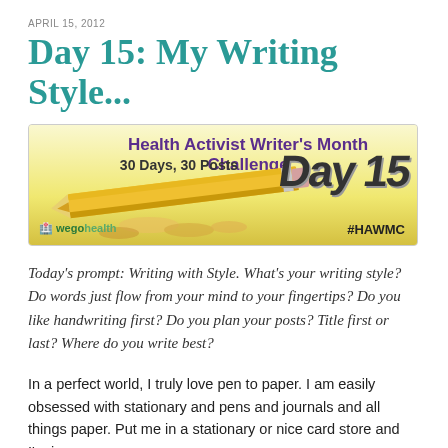APRIL 15, 2012
Day 15: My Writing Style...
[Figure (infographic): Health Activist Writer's Month Challenge banner. Text reads: 'Health Activist Writer's Month Challenge — 30 Days, 30 Posts' with 'Day 15' in large stylized text on the right, a pencil graphic in the center, wego health logo bottom left, and #HAWMC bottom right.]
Today's prompt: Writing with Style. What's your writing style? Do words just flow from your mind to your fingertips? Do you like handwriting first? Do you plan your posts? Title first or last? Where do you write best?
In a perfect world, I truly love pen to paper. I am easily obsessed with stationary and pens and journals and all things paper. Put me in a stationary or nice card store and I'm in